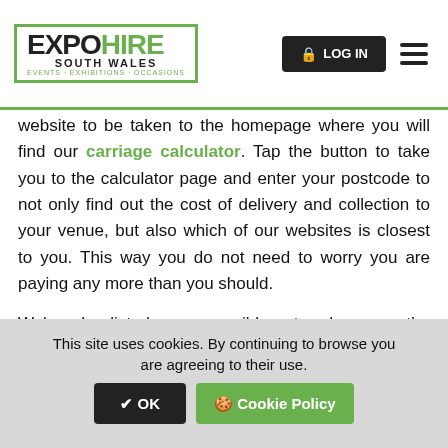EXPO HIRE SOUTH WALES — EVENTS · EXHIBITIONS · OCCASIONS
Expo Hire South Wales logo from anywhere on the website to be taken to the homepage where you will find our carriage calculator. Tap the button to take you to the calculator page and enter your postcode to not only find out the cost of delivery and collection to your venue, but also which of our websites is closest to you. This way you do not need to worry you are paying any more than you should.
We've also listed every possible extra charge on the carriage calculator page. If applicable, these charges are confirmed in the checkout once you have confirmed your delivery dates and address
This site uses cookies. By continuing to browse you are agreeing to their use. ✔ OK 🍪 Cookie Policy